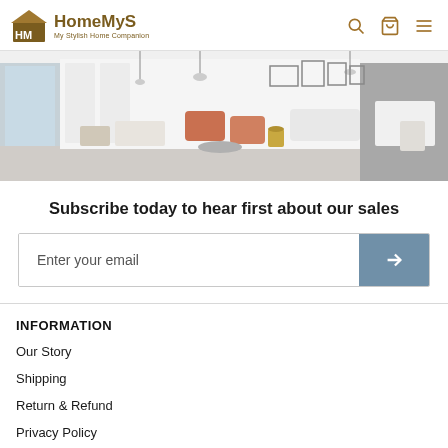HomeMyS — My Stylish Home Companion
[Figure (photo): Wide banner photo of a modern living room with stylish furniture, pendant lights, framed wall art, and contemporary decor in white and grey tones.]
Subscribe today to hear first about our sales
Enter your email
INFORMATION
Our Story
Shipping
Return & Refund
Privacy Policy